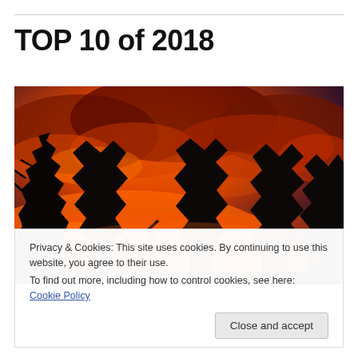TOP 10 of 2018
[Figure (photo): Dramatic orange and red sunset sky with dark silhouettes of pine trees in the foreground]
Privacy & Cookies: This site uses cookies. By continuing to use this website, you agree to their use.
To find out more, including how to control cookies, see here: Cookie Policy
Close and accept